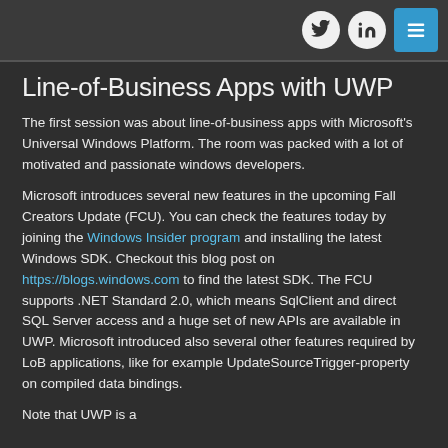[Twitter icon] [LinkedIn icon] [Menu icon]
Line-of-Business Apps with UWP
The first session was about line-of-business apps with Microsoft's Universal Windows Platform. The room was packed with a lot of motivated and passionate windows developers.
Microsoft introduces several new features in the upcoming Fall Creators Update (FCU). You can check the features today by joining the Windows Insider program and installing the latest Windows SDK. Checkout this blog post on https://blogs.windows.com to find the latest SDK. The FCU supports .NET Standard 2.0, which means SqlClient and direct SQL Server access and a huge set of new APIs are available in UWP. Microsoft introduced also several other features required by LoB applications, like for example UpdateSourceTrigger-property on compiled data bindings.
Note that UWP is a topic...